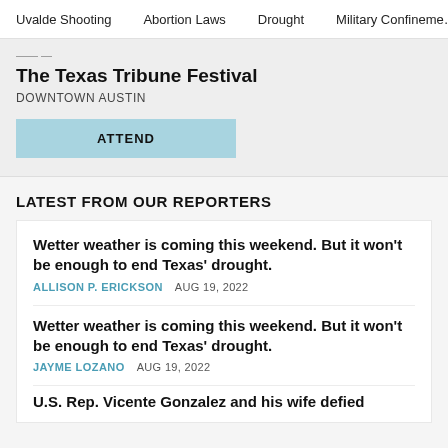Uvalde Shooting    Abortion Laws    Drought    Military Confinement
The Texas Tribune Festival
DOWNTOWN AUSTIN
ATTEND
LATEST FROM OUR REPORTERS
Wetter weather is coming this weekend. But it won't be enough to end Texas' drought.
ALLISON P. ERICKSON    AUG 19, 2022
Wetter weather is coming this weekend. But it won't be enough to end Texas' drought.
JAYME LOZANO    AUG 19, 2022
U.S. Rep. Vicente Gonzalez and his wife defied